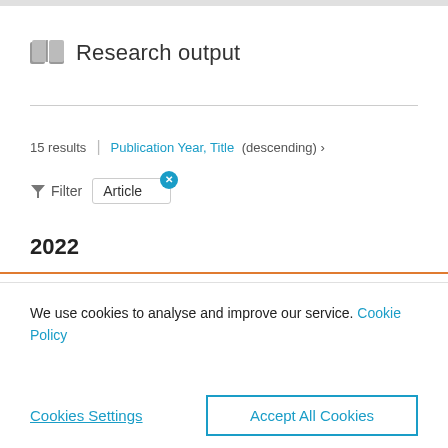Research output
15 results  |  Publication Year, Title (descending) >
Filter  Article
2022
We use cookies to analyse and improve our service. Cookie Policy
Cookies Settings
Accept All Cookies